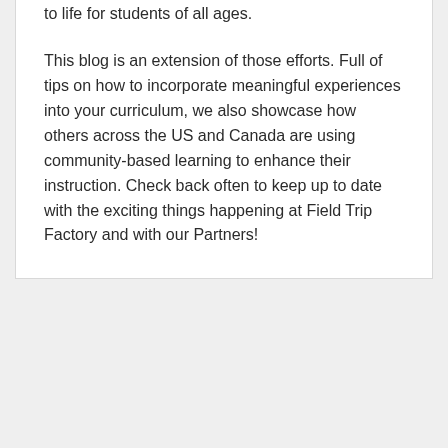to life for students of all ages.
This blog is an extension of those efforts. Full of tips on how to incorporate meaningful experiences into your curriculum, we also showcase how others across the US and Canada are using community-based learning to enhance their instruction. Check back often to keep up to date with the exciting things happening at Field Trip Factory and with our Partners!
MENU
Blog Home
Field Trip Factory News
Newsletter Archive